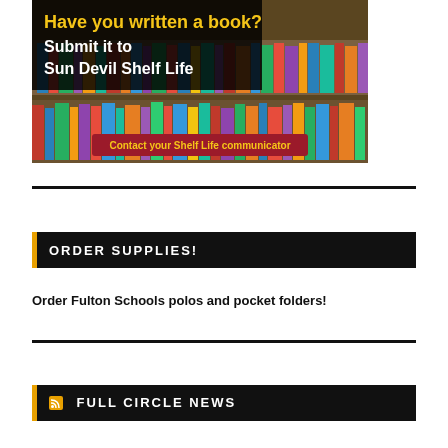[Figure (photo): Library bookshelf banner image with text overlays: 'Have you written a book? Submit it to Sun Devil Shelf Life' and 'Contact your Shelf Life communicator']
ORDER SUPPLIES!
Order Fulton Schools polos and pocket folders!
FULL CIRCLE NEWS